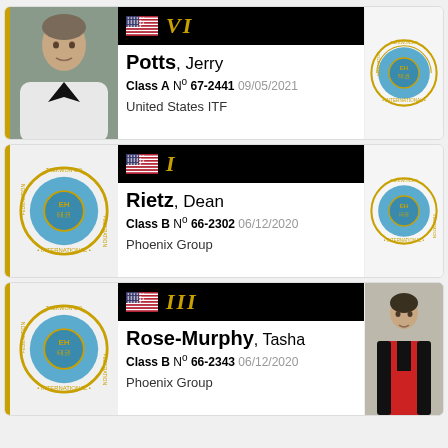[Figure (other): Card 1: Photo of Jerry Potts in white dobok, ITF logo on right, rank VI. Name: Potts, Jerry. Class A No 67-2441 09/05/2021. United States ITF.]
[Figure (other): Card 2: ITF logo on left, ITF logo on right, rank I. Name: Rietz, Dean. Class B No 66-2302 06/12/2020. Phoenix Group.]
[Figure (other): Card 3: ITF logo on left, photo of young male in red/black jacket on right, rank III. Name: Rose-Murphy, Tasha. Class B No 66-2343 06/12/2020. Phoenix Group.]